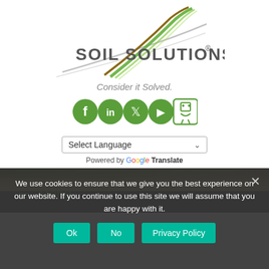[Figure (logo): Soil Solutions logo with green and brown converging lines sweeping upward, text SOIL SOLUTIONS with registered trademark symbol]
Consider it Solved.
[Figure (illustration): Social media icons: Facebook, LinkedIn, Twitter, YouTube, and Slideshare in green circular icons]
Select Language (dropdown) Powered by Google Translate
☰ Menu
We use cookies to ensure that we give you the best experience on our website. If you continue to use this site we will assume that you are happy with it.
Ok  No  Privacy Policy